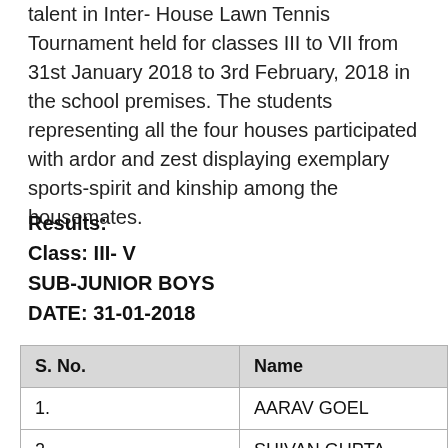talent in Inter- House Lawn Tennis Tournament held for classes III to VII from 31st January 2018 to 3rd February, 2018 in the school premises. The students representing all the four houses participated with ardor and zest displaying exemplary sports-spirit and kinship among the housemates.
Results:
Class: III- V
SUB-JUNIOR BOYS
DATE: 31-01-2018
| S. No. | Name |
| --- | --- |
| 1. | AARAV GOEL |
| 2. | SHIVAN GUPTA |